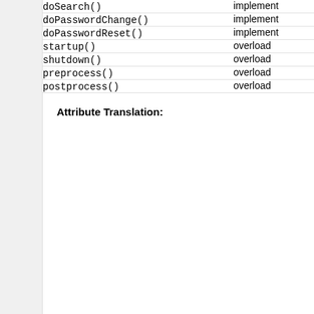| Method | Description |
| --- | --- |
| doSearch() | implement |
| doPasswordChange() | implement |
| doPasswordReset() | implement |
| startup() | overload |
| shutdown() | overload |
| preprocess() | overload |
| postprocess() | overload |
Attribute Translation: